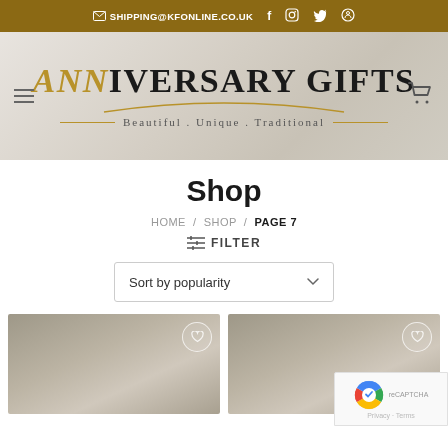✉ SHIPPING@KFONLINE.CO.UK  f  🔍  🐦  ℗
[Figure (logo): Anniversary Gifts logo with tagline: Beautiful . Unique . Traditional]
Shop
HOME / SHOP / PAGE 7
≡ FILTER
Sort by popularity
[Figure (photo): Product thumbnail 1 - beige/tan product image with wishlist heart button]
[Figure (photo): Product thumbnail 2 - beige/tan product image with wishlist heart button]